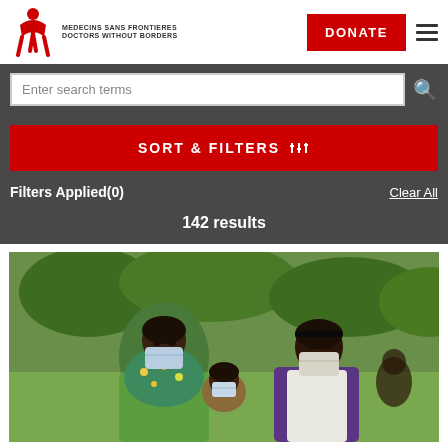[Figure (logo): Médecins Sans Frontières / Doctors Without Borders logo with red figure icon and organization name]
DONATE
Enter search terms
SORT & FILTERS
Filters Applied(0)
Clear All
142 results
[Figure (photo): Three people wearing face masks sitting outdoors with green trees in background]